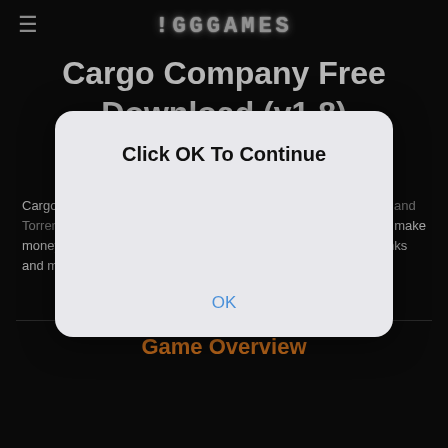IGGGAMES
Cargo Company Free Download (v1.8)
POSTED BY · COUNTRY · RACING · ACTION · MANAGEMENT, PC
Cargo Company Free Download PC Game repack in Direct Link and Torrent. Cargo Company is a simulation game that allows you to make money by transporting passengers, wood, steel, goods, cars, tanks and more – using trains, trucks, busses, and…
CRACKED – FREE DOWNLOAD – TORRENT
Game Overview
[Figure (screenshot): Browser dialog popup with text 'Click OK To Continue' and an OK button]